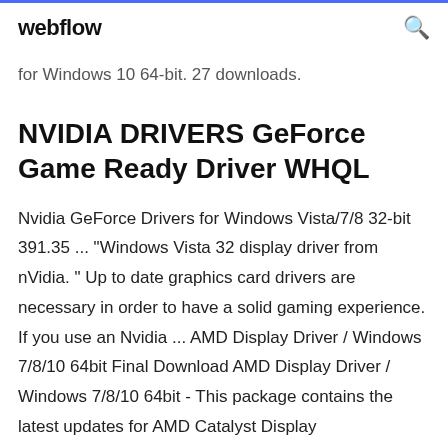webflow
for Windows 10 64-bit. 27 downloads.
NVIDIA DRIVERS GeForce Game Ready Driver WHQL
Nvidia GeForce Drivers for Windows Vista/7/8 32-bit 391.35 ... "Windows Vista 32 display driver from nVidia. " Up to date graphics card drivers are necessary in order to have a solid gaming experience. If you use an Nvidia ... AMD Display Driver / Windows 7/8/10 64bit Final Download AMD Display Driver / Windows 7/8/10 64bit - This package contains the latest updates for AMD Catalyst Display